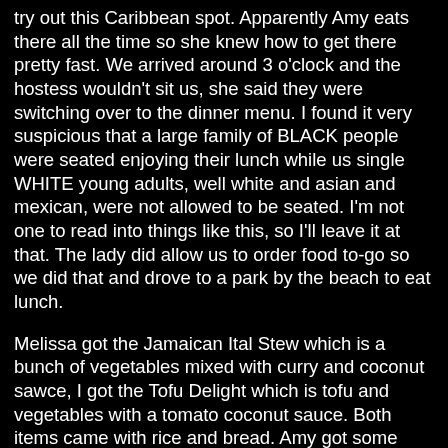try out this Caribbean spot. Apparently Amy eats there all the time so she knew how to get there pretty fast. We arrived around 3 o'clock and the hostess wouldn't sit us, she said they were switching over to the dinner menu. I found it very suspicious that a large family of BLACK people were seated enjoying their lunch while us single WHITE young adults, well white and asian and mexican, were not allowed to be seated. I'm not one to read into things like this, so I'll leave it at that. The lady did allow us to order food to-go so we did that and drove to a park by the beach to eat lunch.
Melissa got the Jamaican Ital Stew which is a bunch of vegetables mixed with curry and coconut sawce, I got the Tofu Delight which is tofu and vegetables with a tomato coconut sauce. Both items came with rice and bread. Amy got some shredded animal carcass cuz her taste buds are more important than the livelihood of this planet.
Both mine and Melissa's food was outstanding. The only way I can describe how good it made me feel would be something similar to a gay dudes first bukkake party. The spices were all dead on, it was salty but not too salty and the tofu was the perfect texture. After we ate Amy took off and